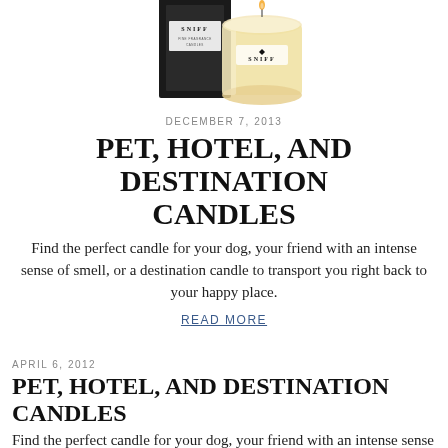[Figure (photo): Product photo of SNIFF branded candle — black box packaging and a glass candle jar with 'SNIFF' label on white/cream background, partially cropped at top]
DECEMBER 7, 2013
PET, HOTEL, AND DESTINATION CANDLES
Find the perfect candle for your dog, your friend with an intense sense of smell, or a destination candle to transport you right back to your happy place.
READ MORE
APRIL 6, 2012
PET, HOTEL, AND DESTINATION CANDLES
Find the perfect candle for your dog, your friend with an intense sense of smell, or a destination candle to transport you right back to your happy place.